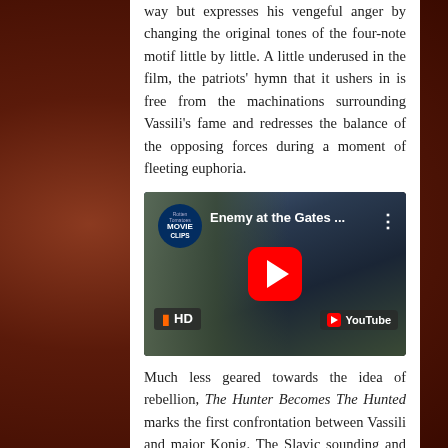way but expresses his vengeful anger by changing the original tones of the four-note motif little by little. A little underused in the film, the patriots' hymn that it ushers in is free from the machinations surrounding Vassili's fame and redresses the balance of the opposing forces during a moment of fleeting euphoria.
[Figure (screenshot): YouTube video embed thumbnail for 'Enemy at the Gates ...' from Rotten Tomatoes Movie Clips channel, showing a soldier in a war scene, with red play button, HD badge, and YouTube branding.]
Much less geared towards the idea of rebellion, The Hunter Becomes The Hunted marks the first confrontation between Vassili and major Konig. The Slavic sounding and fervant opening